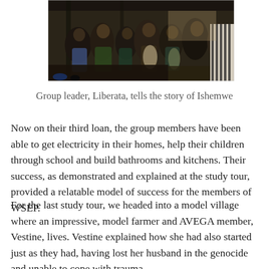[Figure (photo): A group of people sitting together in a covered outdoor space, many appear to be attending a meeting or gathering. The scene is dark/shadowed indoors with light coming from outside.]
Group leader, Liberata, tells the story of Ishemwe
Now on their third loan, the group members have been able to get electricity in their homes, help their children through school and build bathrooms and kitchens. Their success, as demonstrated and explained at the study tour, provided a relatable model of success for the members of WSEP.
For the last study tour, we headed into a model village where an impressive, model farmer and AVEGA member, Vestine, lives. Vestine explained how she had also started just as they had, having lost her husband in the genocide and unable to cope with trauma.